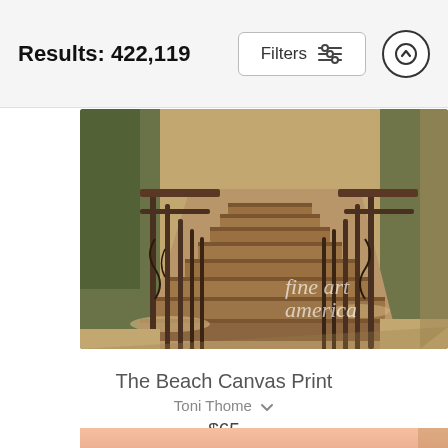Results: 422,119
[Figure (photo): Canvas print of wooden beach steps with iron railings and sand, watermarked with 'fine art america']
The Beach Canvas Print
Toni Thome
$65
[Figure (photo): Partial view of a second canvas print showing a pink/peach gradient sunset or beach scene]